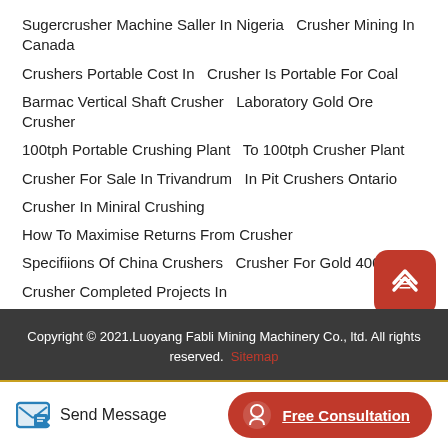Sugercrusher Machine Saller In Nigeria   Crusher Mining In Canada
Crushers Portable Cost In   Crusher Is Portable For Coal
Barmac Vertical Shaft Crusher   Laboratory Gold Ore Crusher
100tph Portable Crushing Plant   To 100tph Crusher Plant
Crusher For Sale In Trivandrum   In Pit Crushers Ontario
Crusher In Miniral Crushing
How To Maximise Returns From Crusher
Specifiions Of China Crushers   Crusher For Gold 400 Mesh
Crusher Completed Projects In
Copyright © 2021.Luoyang Fabli Mining Machinery Co., ltd. All rights reserved. Sitemap
Send Message
Free Consultation